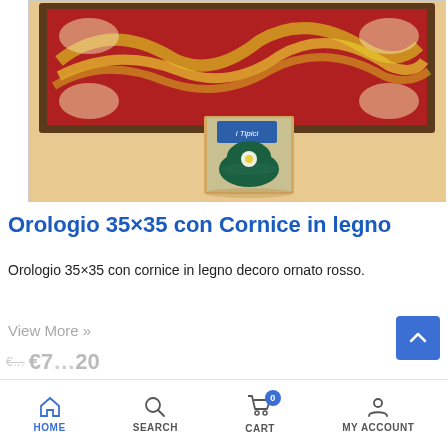[Figure (photo): Product photo showing a decorative wall clock with ornate red wooden frame and a small catalog booklet with ceramic vase motif in front, displayed on a beige wall]
Orologio 35×35 con Cornice in legno
Orologio 35×35 con cornice in legno decoro ornato rosso.
View More »
HOME  SEARCH  CART (0)  MY ACCOUNT